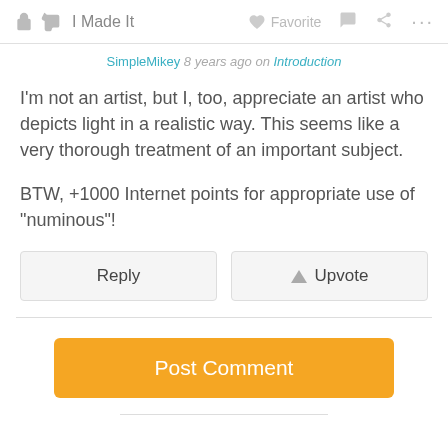I Made It  Favorite  ...
SimpleMikey 8 years ago on Introduction
I'm not an artist, but I, too, appreciate an artist who depicts light in a realistic way. This seems like a very thorough treatment of an important subject.

BTW, +1000 Internet points for appropriate use of "numinous"!
Reply   Upvote
Post Comment